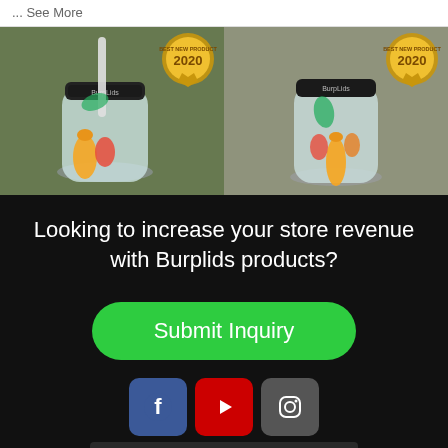... See More
[Figure (photo): Two side-by-side photos of BurpLids mason jars filled with vegetables (peppers, carrots), each with a Best of 2020 award badge in the top-right corner.]
Looking to increase your store revenue with Burplids products?
Submit Inquiry
[Figure (infographic): Social media icons row: Facebook (blue), YouTube (red), Instagram (gray)]